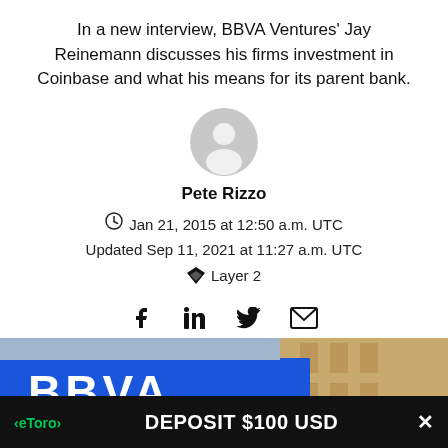In a new interview, BBVA Ventures' Jay Reinemann discusses his firms investment in Coinbase and what his means for its parent bank.
[Figure (illustration): Generic user avatar icon (grey circle with person silhouette)]
Pete Rizzo
Jan 21, 2015 at 12:50 a.m. UTC
Updated Sep 11, 2021 at 11:27 a.m. UTC
Layer 2
[Figure (illustration): Social share icons: Facebook, LinkedIn, Twitter, Email]
[Figure (photo): Photo of BBVA bank signage on a building facade, blue banner with white BBVA letters]
[Figure (infographic): eToro advertisement banner: 'DEPOSIT $100 USD' with eToro logo and close button]